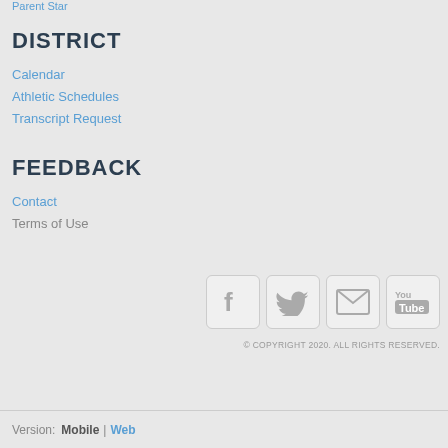Parent Star
DISTRICT
Calendar
Athletic Schedules
Transcript Request
FEEDBACK
Contact
Terms of Use
[Figure (infographic): Social media icons: Facebook, Twitter, Email, YouTube]
© COPYRIGHT 2020. ALL RIGHTS RESERVED.
Version: Mobile | Web